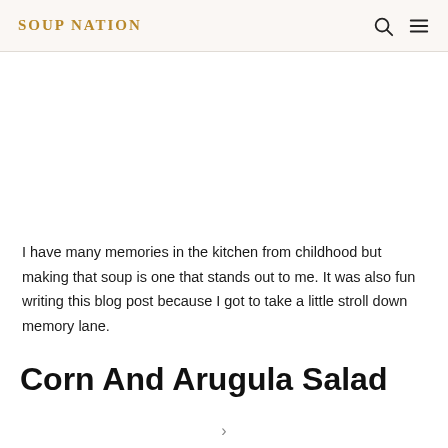SOUP NATION
I have many memories in the kitchen from childhood but making that soup is one that stands out to me. It was also fun writing this blog post because I got to take a little stroll down memory lane.
Corn And Arugula Salad